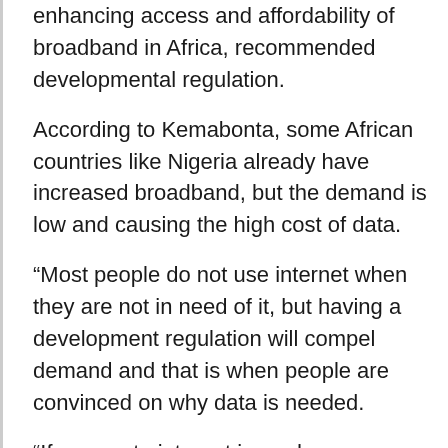enhancing access and affordability of broadband in Africa, recommended developmental regulation.
According to Kemabonta, some African countries like Nigeria already have increased broadband, but the demand is low and causing the high cost of data.
“Most people do not use internet when they are not in need of it, but having a development regulation will compel demand and that is when people are convinced on why data is needed.
“If access to internet is made easy, demand will increase and the price of data will drop,” he said.
Mr Seun Olugbile, CEO Data Analytics Privacy